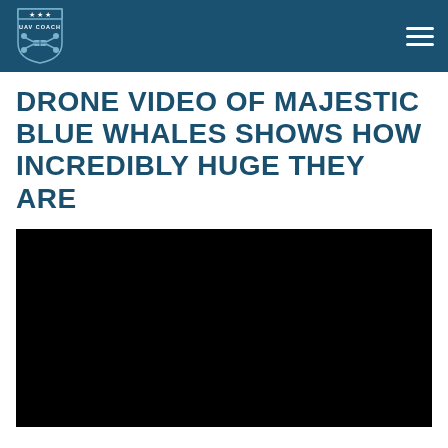UAV Coach
DRONE VIDEO OF MAJESTIC BLUE WHALES SHOWS HOW INCREDIBLY HUGE THEY ARE
[Figure (screenshot): Black video player placeholder embedded in a web article about drone footage of blue whales]